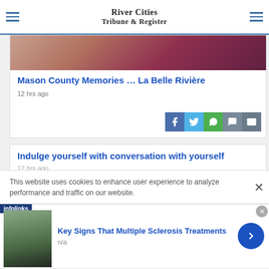River Cities Tribune & Register
[Figure (photo): Partially visible photo cropped at top of article card]
Mason County Memories … La Belle Rivière
12 hrs ago
[Figure (infographic): Social share buttons: Facebook, Twitter, WhatsApp, SMS, Email]
Indulge yourself with conversation with yourself
12 hrs ago
This website uses cookies to enhance user experience to analyze performance and traffic on our website.
[Figure (photo): Infolinks ad banner: photo of person, Key Signs That Multiple Sclerosis Treatments, n/a]